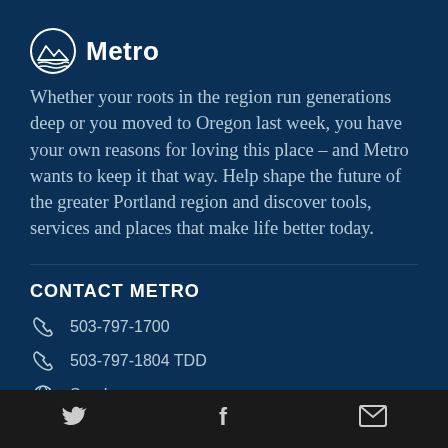[Figure (logo): Metro logo with stylized mountain/wave icon and text 'Metro']
Whether your roots in the region run generations deep or you moved to Oregon last week, you have your own reasons for loving this place – and Metro wants to keep it that way. Help shape the future of the greater Portland region and discover tools, services and places that make life better today.
CONTACT METRO
503-797-1700
503-797-1804 TDD
Send a message
CONNECT WITH METRO
Subscribe to Metro N...